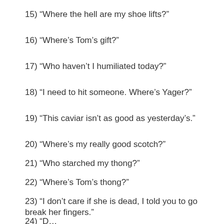15) “Where the hell are my shoe lifts?”
16) “Where’s Tom’s gift?”
17) “Who haven’t I humiliated today?”
18) “I need to hit someone. Where’s Yager?”
19) “This caviar isn’t as good as yesterday’s.”
20) “Where’s my really good scotch?”
21) “Who starched my thong?”
22) “Where’s Tom’s thong?”
23) “I don’t care if she is dead, I told you to go break her fingers.”
24) “D…”